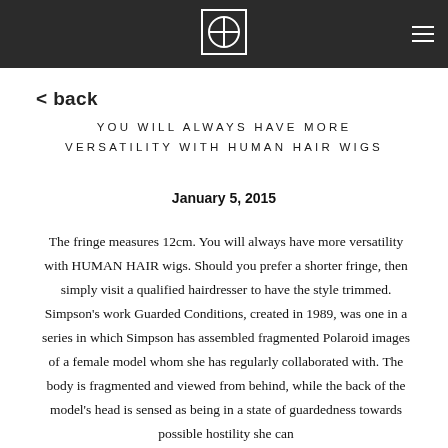[Logo] [Hamburger menu]
< back
YOU WILL ALWAYS HAVE MORE VERSATILITY WITH HUMAN HAIR WIGS
January 5, 2015
The fringe measures 12cm. You will always have more versatility with HUMAN HAIR wigs. Should you prefer a shorter fringe, then simply visit a qualified hairdresser to have the style trimmed. Simpson's work Guarded Conditions, created in 1989, was one in a series in which Simpson has assembled fragmented Polaroid images of a female model whom she has regularly collaborated with. The body is fragmented and viewed from behind, while the back of the model's head is sensed as being in a state of guardedness towards possible hostility she can